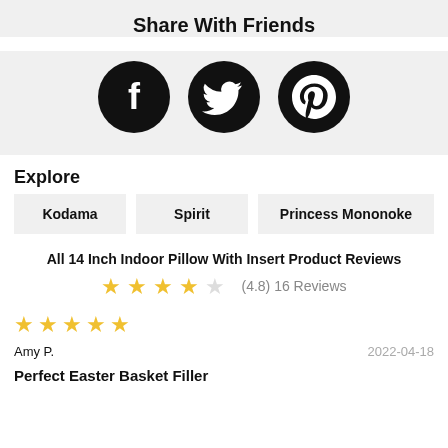Share With Friends
[Figure (infographic): Three black circular social media icons: Facebook (f), Twitter (bird), Pinterest (p)]
Explore
Kodama
Spirit
Princess Mononoke
All 14 Inch Indoor Pillow With Insert Product Reviews
(4.8) 16 Reviews
[Figure (infographic): 5-star user review rating: 5 filled gold stars]
Amy P.
2022-04-18
Perfect Easter Basket Filler